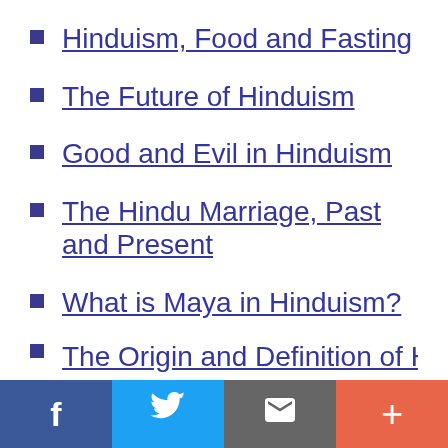Hinduism, Food and Fasting
The Future of Hinduism
Good and Evil in Hinduism
The Hindu Marriage, Past and Present
What is Maya in Hinduism?
The Origin and Definition of Hind...
This website uses cookies to ensure you get the best experience on our website.
Got it!